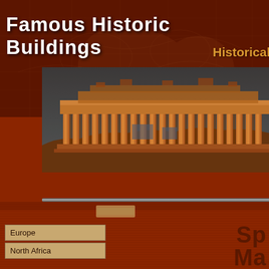Famous Historic Buildings
Historical
[Figure (photo): Photograph of the Parthenon/Acropolis ruins showing ancient Greek columns illuminated in warm golden/orange light against a dark sky]
Europe
North Africa
Sp
Ma